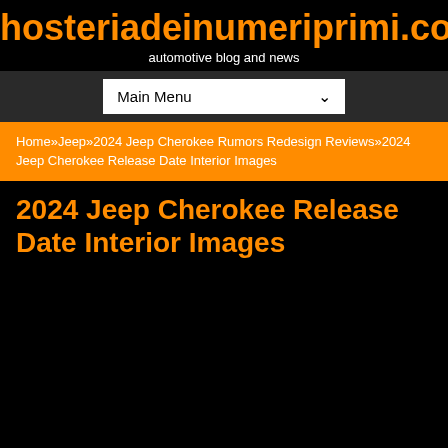hosteriadeinumeriprimi.com
automotive blog and news
Main Menu
Home»Jeep»2024 Jeep Cherokee Rumors Redesign Reviews»2024 Jeep Cherokee Release Date Interior Images
2024 Jeep Cherokee Release Date Interior Images